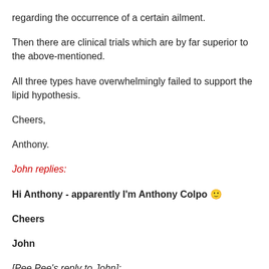regarding the occurrence of a certain ailment.
Then there are clinical trials which are by far superior to the above-mentioned.
All three types have overwhelmingly failed to support the lipid hypothesis.
Cheers,
Anthony.
John replies:
Hi Anthony - apparently I'm Anthony Colpo 🙂
Cheers
John
[Pee Pee's reply to John]: